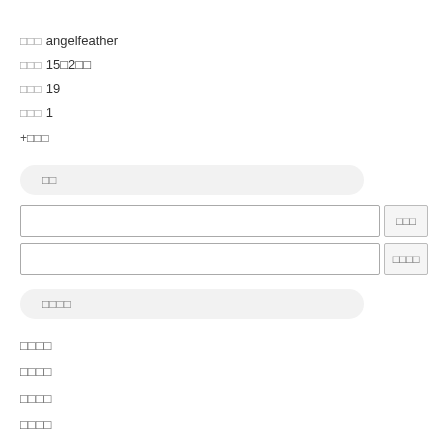□□□ angelfeather
□□□ 15□2□□
□□□ 19
□□□□ 1
+□□□
□□
□□□
□□□□
□□□□
□□□□
□□□□
□□□□
□□□□